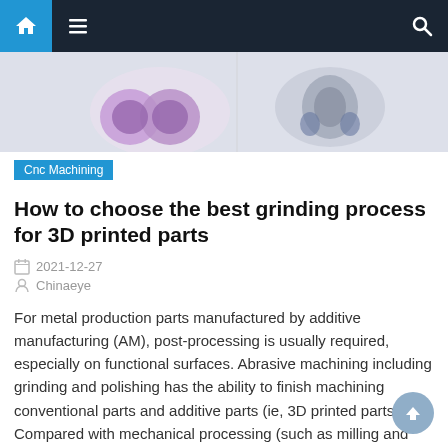Navigation bar with home, menu, and search icons
[Figure (photo): Close-up photo of 3D printed mechanical parts with purple and gray colors against a white/light background]
Cnc Machining
How to choose the best grinding process for 3D printed parts
2021-12-27
Chinaeye
For metal production parts manufactured by additive manufacturing (AM), post-processing is usually required, especially on functional surfaces. Abrasive machining including grinding and polishing has the ability to finish machining conventional parts and additive parts (ie, 3D printed parts).  Compared with mechanical processing (such as milling and other alternative finishing processes), grinding has the advantage of [...]